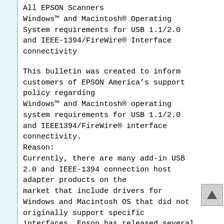All EPSON Scanners
Windows™ and Macintosh® Operating System requirements for USB 1.1/2.0 and IEEE-1394/FireWire® Interface connectivity
This bulletin was created to inform customers of EPSON America's support policy regarding Windows™ and Macintosh® operating system requirements for USB 1.1/2.0 and IEEE1394/FireWire® interface connectivity.
Reason:
Currently, there are many add-in USB 2.0 and IEEE-1394 connection host adapter products on the market that include drivers for Windows and Macintosh OS that did not originally support specific interfaces. Epson has released several scanner products with built-in USB 2.0